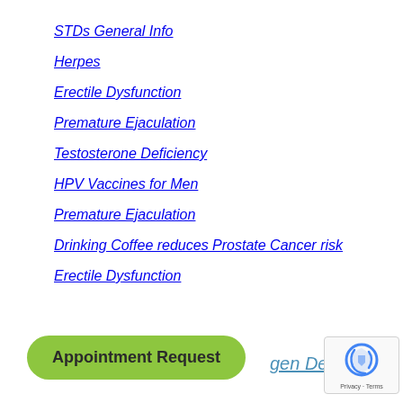STDs General Info
Herpes
Erectile Dysfunction
Premature Ejaculation
Testosterone Deficiency
HPV Vaccines for Men
Premature Ejaculation
Drinking Coffee reduces Prostate Cancer risk
Erectile Dysfunction
...gen Deficiency
Appointment Request